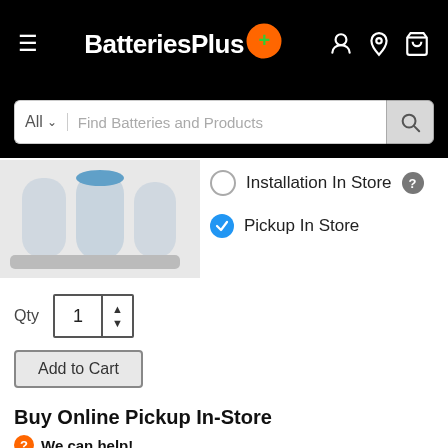[Figure (screenshot): BatteriesPlus website header with hamburger menu, logo, and icons for account, location, and cart on black background]
[Figure (screenshot): Search bar with 'All' dropdown and 'Find Batteries and Products' placeholder text, search button on black background]
[Figure (photo): Product image showing water filter/battery product in light blue/grey casing]
Installation In Store
Pickup In Store
Qty  1
Add to Cart
Buy Online Pickup In-Store
We can help!
Call the Ashburn store at 571-291-2916 and experts will be happy to help with this order.